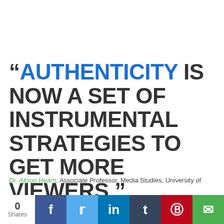“AUTHENTICITY IS NOW A SET OF INSTRUMENTAL STRATEGIES TO GET MORE VIEWERS.”
Dr. Alison Hearn, Associate Professor, Media Studies, University of